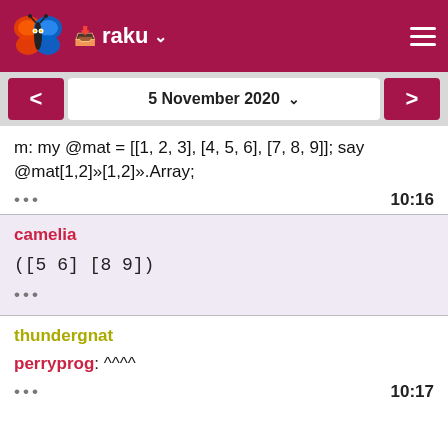raku
5 November 2020
m: my @mat = [[1, 2, 3], [4, 5, 6], [7, 8, 9]]; say @mat[1,2]»[1,2]».Array;
... 10:16
camelia
([5 6] [8 9])
...
thundergnat
perryprog: ^^^^
... 10:17